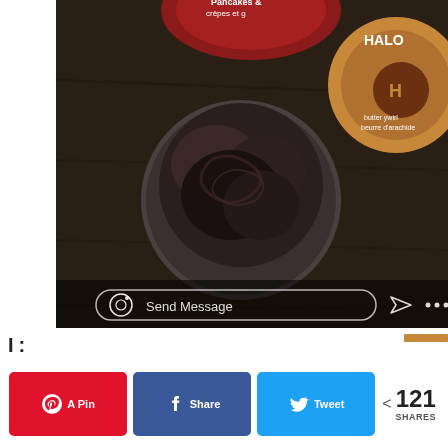[Figure (photo): Instagram-style photo viewed from above showing a bowl of dark chocolate ice cream on a dark wooden table, with Halo Top ice cream pint containers visible in the background. At the bottom of the photo is an Instagram 'Send Message' input bar with camera icon, send icon, and ellipsis.]
121 SHARES